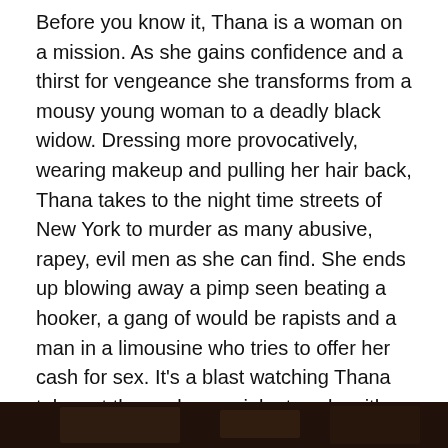Before you know it, Thana is a woman on a mission. As she gains confidence and a thirst for vengeance she transforms from a mousy young woman to a deadly black widow. Dressing more provocatively, wearing makeup and pulling her hair back, Thana takes to the night time streets of New York to murder as many abusive, rapey, evil men as she can find. She ends up blowing away a pimp seen beating a hooker, a gang of would be rapists and a man in a limousine who tries to offer her cash for sex. It's a blast watching Thana take out these sleazy, violent cocksmiths. One can clearly see how Thana perceives these men as threats  and you cannot help but cheer as she delivers hot, blood spattering, genital mutilating vengeance from the barrel of her gun. I must admit a certain feeling of satisfaction witnessing this carnage.
[Figure (photo): Dark photographic image strip at the bottom of the page, showing a dimly lit scene.]